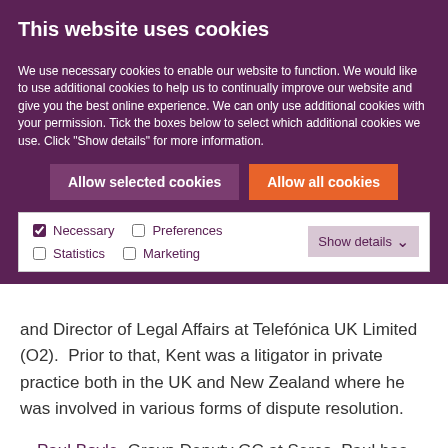This website uses cookies
We use necessary cookies to enable our website to function. We would like to use additional cookies to help us to continually improve our website and give you the best online experience. We can only use additional cookies with your permission. Tick the boxes below to select which additional cookies we use. Click "Show details" for more information.
Allow selected cookies | Allow all cookies
Necessary  Preferences  Statistics  Marketing  Show details
and Director of Legal Affairs at Telefónica UK Limited (O2).  Prior to that, Kent was a litigator in private practice both in the UK and New Zealand where he was involved in various forms of dispute resolution.
Paul Boyle, Group Deputy GC at Serco. Paul has been in-house for over seven years and has experience of mediation in different respects